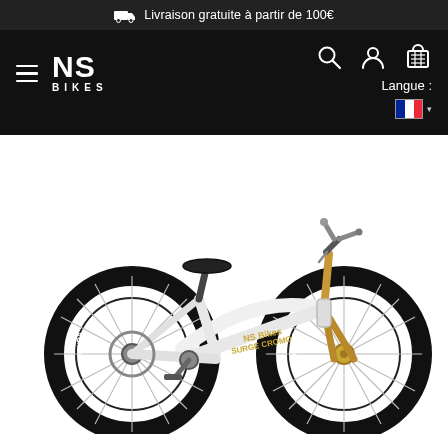Livraison gratuite à partir de 100€
[Figure (screenshot): NS Bikes website navigation header with hamburger menu, NS Bikes logo, search/account/cart icons, and language selector showing French flag]
[Figure (photo): White NS Bikes dirt jump / street bicycle with black tires (Kenda brand), black saddle, gold/brown fork, disc brake on rear wheel, against white background]